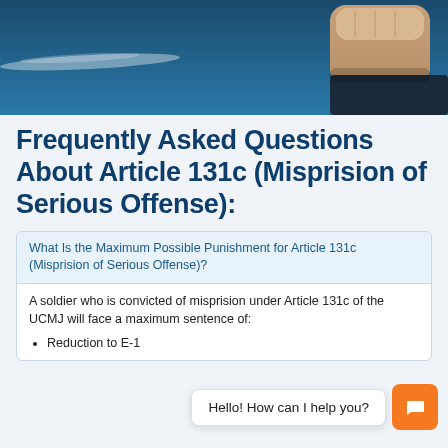[Figure (photo): Photo of a person's fist/hand pressing against a surface, with a chalk-like smear, against a dark blue background]
Frequently Asked Questions About Article 131c (Misprision of Serious Offense):
What Is the Maximum Possible Punishment for Article 131c (Misprision of Serious Offense)?
A soldier who is convicted of misprision under Article 131c of the UCMJ will face a maximum sentence of:
Reduction to E-1